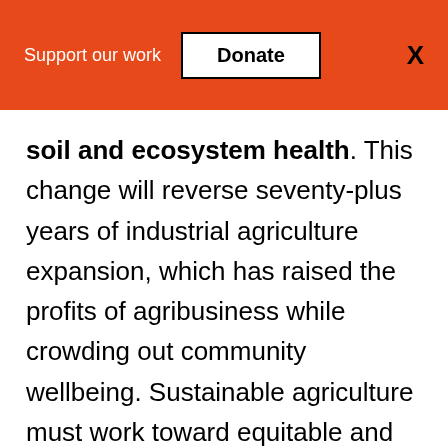Support our work  Donate  X
soil and ecosystem health. This change will reverse seventy-plus years of industrial agriculture expansion, which has raised the profits of agribusiness while crowding out community wellbeing. Sustainable agriculture must work toward equitable and locally appropriate ways of achieving net-zero agricultural emissions, limiting the conversion of new land to agriculture, and significantly reducing the use of water and synthetic fertilizers.[2]